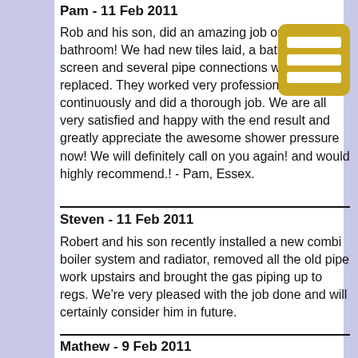Pam - 11 Feb 2011
Rob and his son, did an amazing job on our bathroom! We had new tiles laid, a bath panel, screen and several pipe connections were also replaced. They worked very professionally and continuously and did a thorough job. We are all very satisfied and happy with the end result and greatly appreciate the awesome shower pressure now! We will definitely call on you again! and would highly recommend.! - Pam, Essex.
Steven - 11 Feb 2011
Robert and his son recently installed a new combi boiler system and radiator, removed all the old pipe work upstairs and brought the gas piping up to regs. We're very pleased with the job done and will certainly consider him in future.
Mathew - 9 Feb 2011